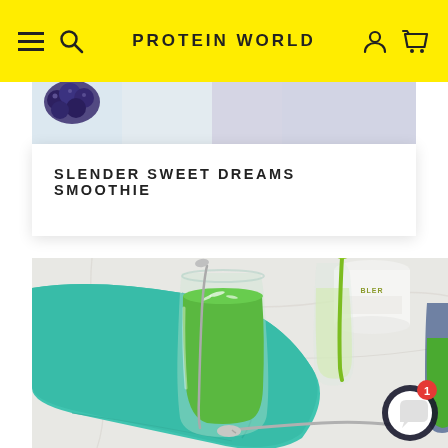PROTEIN WORLD
[Figure (photo): Partial view of a berry smoothie card with blueberries visible at top]
SLENDER SWEET DREAMS SMOOTHIE
[Figure (photo): Green smoothie in a glass with a spoon, on a teal/turquoise napkin, with other glasses and a protein world container in the background on a marble surface]